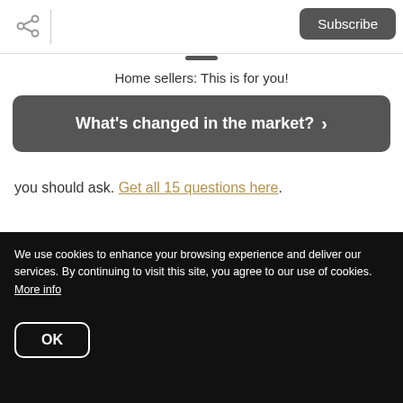Subscribe
Home sellers: This is for you!
What's changed in the market? >
you should ask. Get all 15 questions here.
We use cookies to enhance your browsing experience and deliver our services. By continuing to visit this site, you agree to our use of cookies. More info
OK